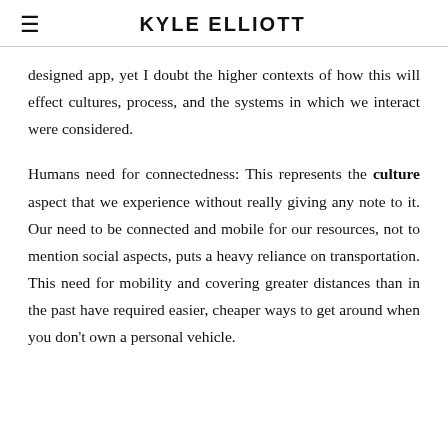KYLE ELLIOTT
designed app, yet I doubt the higher contexts of how this will effect cultures, process, and the systems in which we interact were considered.
Humans need for connectedness: This represents the culture aspect that we experience without really giving any note to it. Our need to be connected and mobile for our resources, not to mention social aspects, puts a heavy reliance on transportation. This need for mobility and covering greater distances than in the past have required easier, cheaper ways to get around when you don't own a personal vehicle.